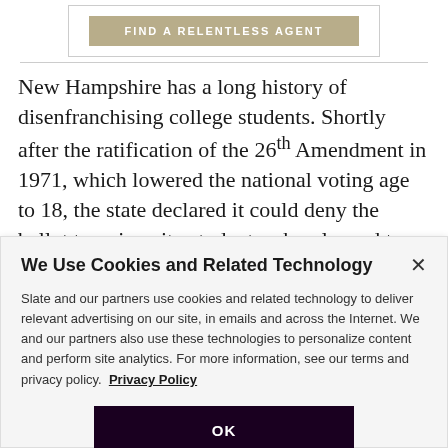[Figure (screenshot): Button labeled FIND A RELENTLESS AGENT in tan/khaki color inside a bordered box]
New Hampshire has a long history of disenfranchising college students. Shortly after the ratification of the 26th Amendment in 1971, which lowered the national voting age to 18, the state declared it could deny the ballot to university students who planned to leave the state after graduation. A federal court ruling said this...
We Use Cookies and Related Technology
Slate and our partners use cookies and related technology to deliver relevant advertising on our site, in emails and across the Internet. We and our partners also use these technologies to personalize content and perform site analytics. For more information, see our terms and privacy policy.  Privacy Policy
OK